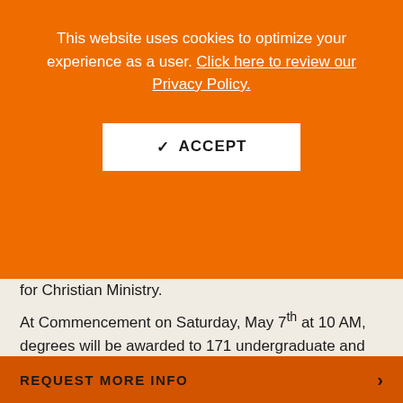This website uses cookies to optimize your experience as a user. Click here to review our Privacy Policy.
✓ ACCEPT
for Christian Ministry.
At Commencement on Saturday, May 7th at 10 AM, degrees will be awarded to 171 undergraduate and 50 graduate students on Giddings lawn (rain site is the Davis-Reid Alumni Gym). Professor Emeritus Margaret (Thornton) Greynolds, a Georgetown College graduate
REQUEST MORE INFO